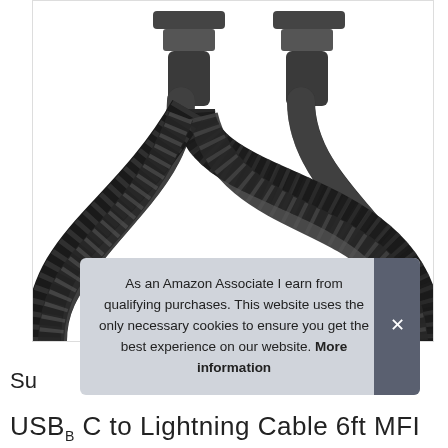[Figure (photo): Close-up photo of a black braided Anker USB-C to Lightning cable showing both connector ends at top and the coiled braided cable body below, on white background]
As an Amazon Associate I earn from qualifying purchases. This website uses the only necessary cookies to ensure you get the best experience on our website. More information
Su
USB C to Lightning Cable 6ft MFI